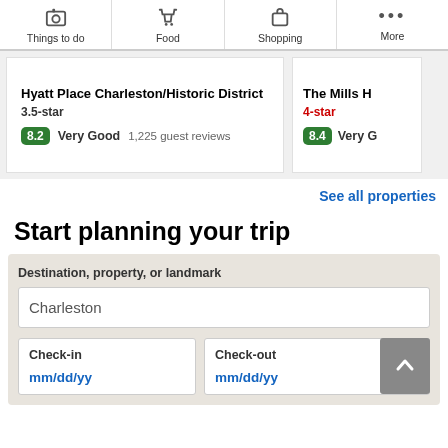Things to do | Food | Shopping | More
Hyatt Place Charleston/Historic District
3.5-star
8.2 Very Good  1,225 guest reviews
The Mills H...
4-star
8.4 Very G...
See all properties
Start planning your trip
Destination, property, or landmark
Charleston
Check-in
mm/dd/yy
Check-out
mm/dd/yy